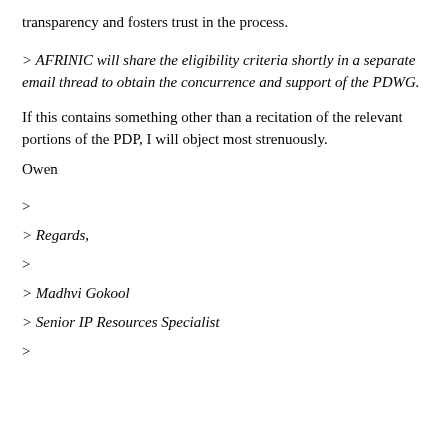transparency and fosters trust in the process.
> AFRINIC will share the eligibility criteria shortly in a separate email thread to obtain the concurrence and support of the PDWG.
If this contains something other than a recitation of the relevant portions of the PDP, I will object most strenuously.
Owen
>
> Regards,
>
> Madhvi Gokool
> Senior IP Resources Specialist
>